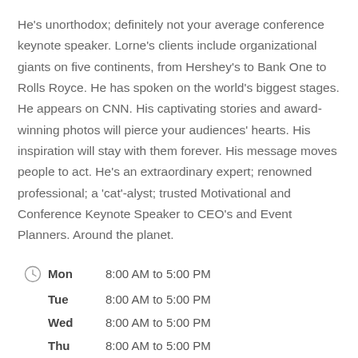He's unorthodox; definitely not your average conference keynote speaker. Lorne's clients include organizational giants on five continents, from Hershey's to Bank One to Rolls Royce. He has spoken on the world's biggest stages. He appears on CNN. His captivating stories and award-winning photos will pierce your audiences' hearts. His inspiration will stay with them forever. His message moves people to act. He's an extraordinary expert; renowned professional; a 'cat'-alyst; trusted Motivational and Conference Keynote Speaker to CEO's and Event Planners. Around the planet.
Mon   8:00 AM to 5:00 PM
Tue   8:00 AM to 5:00 PM
Wed   8:00 AM to 5:00 PM
Thu   8:00 AM to 5:00 PM
Fri   8:00 AM to 5:00 PM